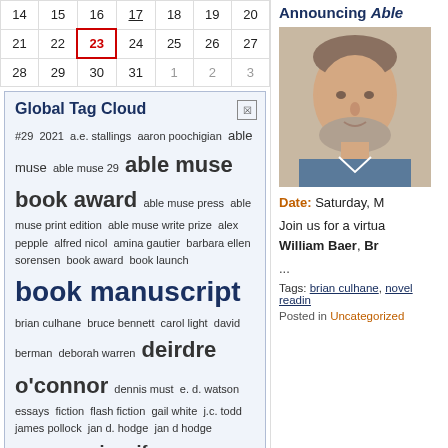| 14 | 15 | 16 | 17 | 18 | 19 | 20 |
| 21 | 22 | 23 | 24 | 25 | 26 | 27 |
| 28 | 29 | 30 | 31 | 1 | 2 | 3 |
Global Tag Cloud
#29 2021 a.e. stallings aaron poochigian able muse able muse 29 able muse book award able muse press able muse print edition able muse write prize alex pepple alfred nicol amina gautier barbara ellen sorensen book award book launch book manuscript brian culhane bruce bennett carol light david berman deborah warren deirdre o'connor dennis must e. d. watson essays fiction flash fiction gail white j.c. todd james pollock jan d. hodge jan d hodge jehanne dubrow jennifer reeser john philip drury john ridland kelly rowe lee harlin bahan len krisak mark jarman maryann corbett memorial michael cantor paulette demers turco poetry poetry book poetry book manuscript poetry collection poetry manuscript poetry reading poetry translation print edition rachel hadas
Announcing Able
[Figure (photo): Headshot of a middle-aged man with gray beard, smiling, wearing a blue shirt]
Date: Saturday, M
Join us for a virtual William Baer, Br
...
Tags: brian culhane, novel readin
Posted in Uncategorized